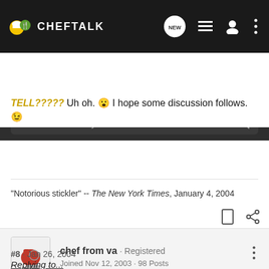CHEF TALK - navigation bar with search
TELL????? Uh oh. 😮 I hope some discussion follows. 😉
"Notorious stickler" -- The New York Times, January 4, 2004
chef from va · Registered
Joined Nov 12, 2003 · 98 Posts
#8 · Jan 26, 2004
Replying to...